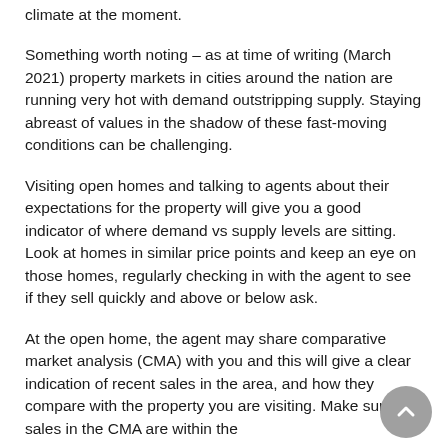climate at the moment.
Something worth noting – as at time of writing (March 2021) property markets in cities around the nation are running very hot with demand outstripping supply. Staying abreast of values in the shadow of these fast-moving conditions can be challenging.
Visiting open homes and talking to agents about their expectations for the property will give you a good indicator of where demand vs supply levels are sitting. Look at homes in similar price points and keep an eye on those homes, regularly checking in with the agent to see if they sell quickly and above or below ask.
At the open home, the agent may share comparative market analysis (CMA) with you and this will give a clear indication of recent sales in the area, and how they compare with the property you are visiting. Make sure the sales in the CMA are within the